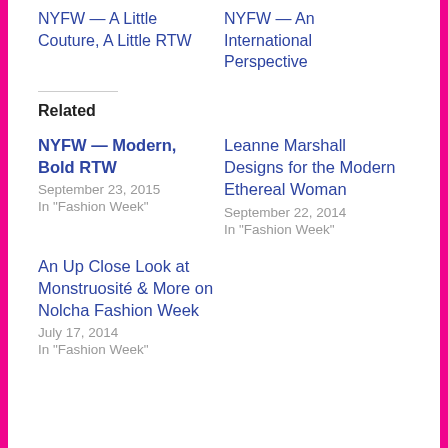NYFW — A Little Couture, A Little RTW
NYFW — An International Perspective
Related
NYFW — Modern, Bold RTW
September 23, 2015
In "Fashion Week"
Leanne Marshall Designs for the Modern Ethereal Woman
September 22, 2014
In "Fashion Week"
An Up Close Look at Monstruosité & More on Nolcha Fashion Week
July 17, 2014
In "Fashion Week"